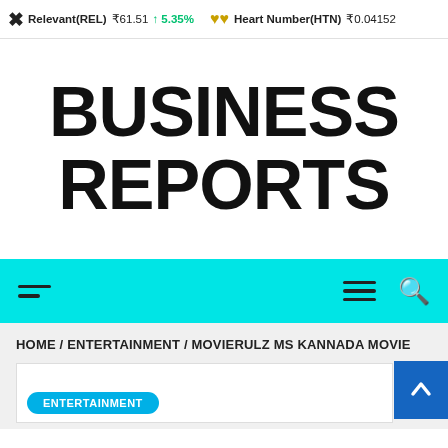Relevant(REL) ₹61.51 ↑ 5.35%  Heart Number(HTN) ₹0.04152
BUSINESS REPORTS
[Figure (screenshot): Cyan navigation bar with left hamburger menu (two lines), right hamburger menu (three lines), and search icon]
HOME / ENTERTAINMENT / MOVIERULZ MS KANNADA MOVIE
[Figure (screenshot): White card area with ENTERTAINMENT button in blue rounded pill, and blue scroll-to-top arrow button in the upper right]